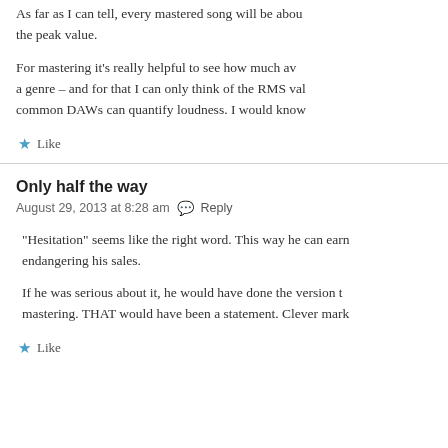As far as I can tell, every mastered song will be about the peak value.
For mastering it's really helpful to see how much av a genre – and for that I can only think of the RMS val common DAWs can quantify loudness. I would know
Like
Only half the way
August 29, 2013 at 8:28 am   Reply
"Hesitation" seems like the right word. This way he can earn endangering his sales.
If he was serious about it, he would have done the version t mastering. THAT would have been a statement. Clever mark
Like